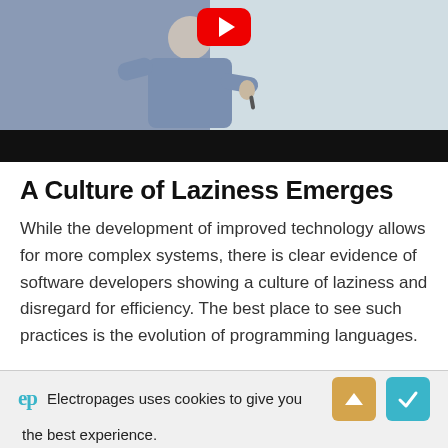[Figure (screenshot): Screenshot of a video player showing a man in a blue shirt writing on a whiteboard. A red YouTube play button is visible at the top center. The bottom portion is a black video control bar.]
A Culture of Laziness Emerges
While the development of improved technology allows for more complex systems, there is clear evidence of software developers showing a culture of laziness and disregard for efficiency. The best place to see such practices is the evolution of programming languages.
Electropages uses cookies to give you the best experience.